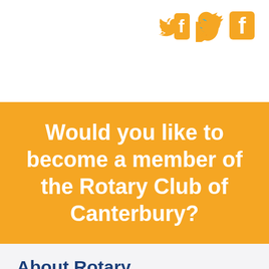[Figure (logo): Twitter bird icon and Facebook 'f' icon in orange, top right corner]
Would you like to become a member of the Rotary Club of Canterbury?
About Rotary
Rotary
Our Club